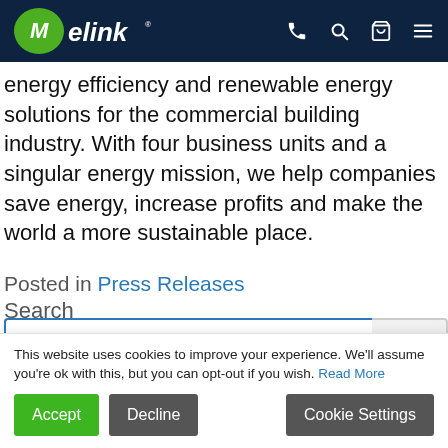Melink [logo] [phone] [search] [cart] [menu]
energy efficiency and renewable energy solutions for the commercial building industry. With four business units and a singular energy mission, we help companies save energy, increase profits and make the world a more sustainable place.
Posted in Press Releases
Search
RECENT POSTS
This website uses cookies to improve your experience. We'll assume you're ok with this, but you can opt-out if you wish. Read More